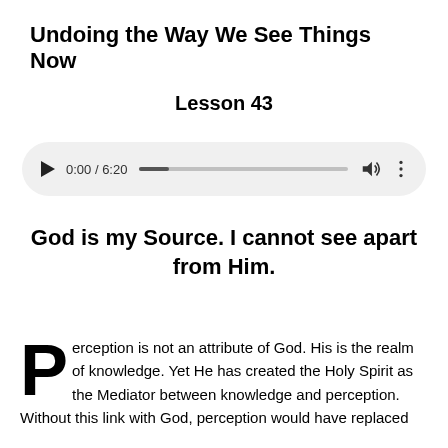Undoing the Way We See Things Now
Lesson 43
[Figure (other): Audio player showing 0:00 / 6:20 with play button, progress bar, volume icon, and more options icon]
God is my Source. I cannot see apart from Him.
Perception is not an attribute of God. His is the realm of knowledge. Yet He has created the Holy Spirit as the Mediator between knowledge and perception. Without this link with God, perception would have replaced